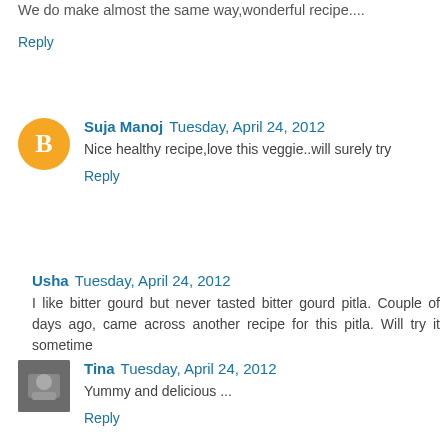We do make almost the same way,wonderful recipe....
Reply
Suja Manoj  Tuesday, April 24, 2012
Nice healthy recipe,love this veggie..will surely try
Reply
Usha  Tuesday, April 24, 2012
I like bitter gourd but never tasted bitter gourd pitla. Couple of days ago, came across another recipe for this pitla. Will try it sometime
Reply
Tina  Tuesday, April 24, 2012
Yummy and delicious ...
Reply